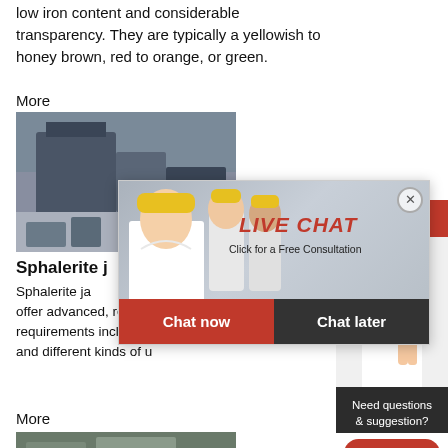low iron content and considerable transparency. They are typically a yellowish to honey brown, red to orange, or green.
More
[Figure (photo): Mining/quarry industrial machinery and equipment]
Sphalerite j…
Sphalerite ja… manufacturer… we offer advanced, reasonable solutions reduction requirements including, Sphale quarry, aggregate, and different kinds of u
More
[Figure (photo): Rocky mountain or quarry landscape]
[Figure (screenshot): Live chat popup with workers in hard hats, LIVE CHAT text, Click for a Free Consultation subtitle, Chat now and Chat later buttons]
[Figure (infographic): Right sidebar: Hrs Online banner, operator image, Need questions & suggestion text, Chat Now button, Enquire bar]